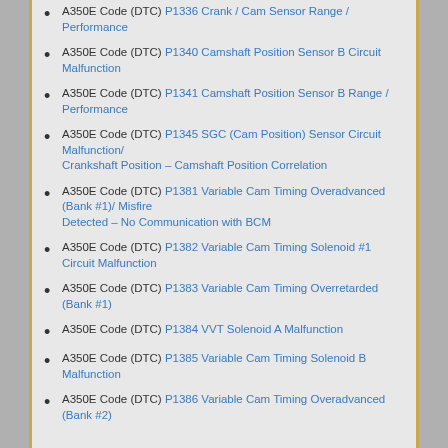A350E Code (DTC) P1336 Crank / Cam Sensor Range / Performance
A350E Code (DTC) P1340 Camshaft Position Sensor B Circuit Malfunction
A350E Code (DTC) P1341 Camshaft Position Sensor B Range / Performance
A350E Code (DTC) P1345 SGC (Cam Position) Sensor Circuit Malfunction/ Crankshaft Position – Camshaft Position Correlation
A350E Code (DTC) P1381 Variable Cam Timing Overadvanced (Bank #1)/ Misfire Detected – No Communication with BCM
A350E Code (DTC) P1382 Variable Cam Timing Solenoid #1 Circuit Malfunction
A350E Code (DTC) P1383 Variable Cam Timing Overretarded (Bank #1)
A350E Code (DTC) P1384 VVT Solenoid A Malfunction
A350E Code (DTC) P1385 Variable Cam Timing Solenoid B Malfunction
A350E Code (DTC) P1386 Variable Cam Timing Overadvanced (Bank #2)